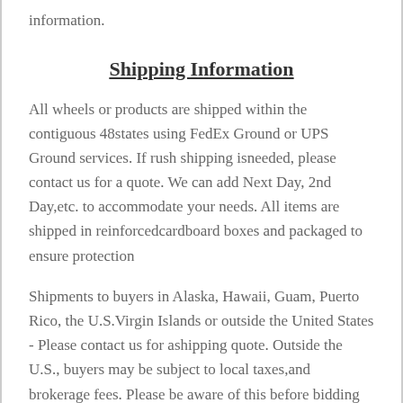information.
Shipping Information
All wheels or products are shipped within the contiguous 48states using FedEx Ground or UPS Ground services. If rush shipping isneeded, please contact us for a quote. We can add Next Day, 2nd Day,etc. to accommodate your needs. All items are shipped in reinforcedcardboard boxes and packaged to ensure protection
Shipments to buyers in Alaska, Hawaii, Guam, Puerto Rico, the U.S.Virgin Islands or outside the United States - Please contact us for ashipping quote. Outside the U.S., buyers may be subject to local taxes,and brokerage fees. Please be aware of this before bidding orpurchasing. These fees are the responsibility of the buyer.